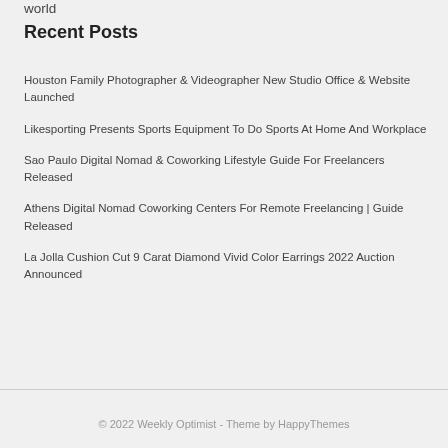world
Recent Posts
Houston Family Photographer & Videographer New Studio Office & Website Launched
Likesporting Presents Sports Equipment To Do Sports At Home And Workplace
Sao Paulo Digital Nomad & Coworking Lifestyle Guide For Freelancers Released
Athens Digital Nomad Coworking Centers For Remote Freelancing | Guide Released
La Jolla Cushion Cut 9 Carat Diamond Vivid Color Earrings 2022 Auction Announced
© 2022 Weekly Optimist - Theme by HappyThemes